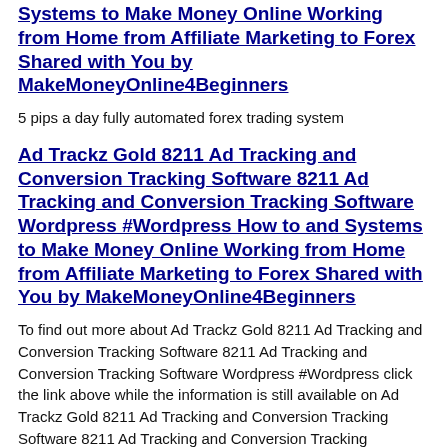Systems to Make Money Online Working from Home from Affiliate Marketing to Forex Shared with You by MakeMoneyOnline4Beginners
5 pips a day fully automated forex trading system
Ad Trackz Gold 8211 Ad Tracking and Conversion Tracking Software 8211 Ad Tracking and Conversion Tracking Software Wordpress #Wordpress How to and Systems to Make Money Online Working from Home from Affiliate Marketing to Forex Shared with You by MakeMoneyOnline4Beginners
To find out more about Ad Trackz Gold 8211 Ad Tracking and Conversion Tracking Software 8211 Ad Tracking and Conversion Tracking Software Wordpress #Wordpress click the link above while the information is still available on Ad Trackz Gold 8211 Ad Tracking and Conversion Tracking Software 8211 Ad Tracking and Conversion Tracking Software Wordpress #Wordpress
Best Most Recent Search Results Keyword or